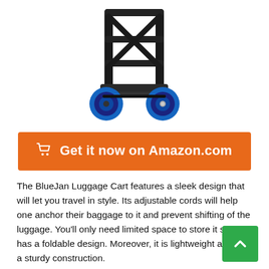[Figure (photo): BlueJan Luggage Cart product photo showing black cart with blue wheels, viewed from bottom/back angle against white background]
🛒 Get it now on Amazon.com
The BlueJan Luggage Cart features a sleek design that will let you travel in style. Its adjustable cords will help one anchor their baggage to it and prevent shifting of the luggage. You'll only need limited space to store it since it has a foldable design. Moreover, it is lightweight and has a sturdy construction.
This cart is strong enough to support 77 pounds. Durable and rugged blue wheels are in place